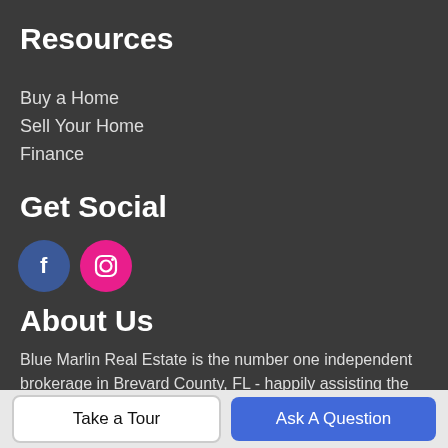Resources
Buy a Home
Sell Your Home
Finance
Get Social
[Figure (illustration): Facebook and Instagram social media icon circles]
About Us
Blue Marlin Real Estate is the number one independent brokerage in Brevard County, FL - happily assisting the Space Coast and surrounding areas with top-notch service.
Blue Marlin Real Estate
Take a Tour
Ask A Question